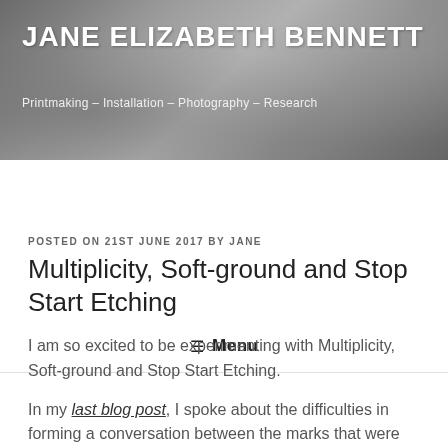JANE ELIZABETH BENNETT
Printmaking – Installation – Photography – Research
≡ Menu
POSTED ON 21ST JUNE 2017 BY JANE
Multiplicity, Soft-ground and Stop Start Etching
I am so excited to be experimenting with Multiplicity, Soft-ground and Stop Start Etching.
In my last blog post, I spoke about the difficulties in forming a conversation between the marks that were present on the plate. To me, the etch was shouting over